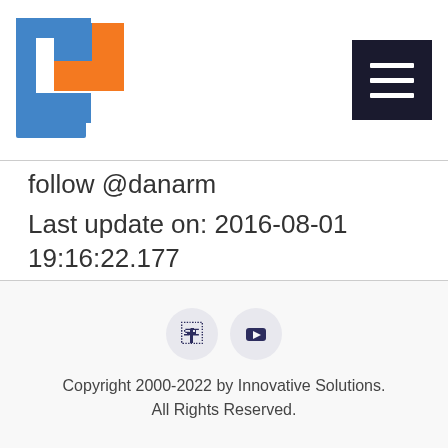[Figure (logo): Innovative Solutions logo with blue and orange interlocking shapes]
[Figure (other): Hamburger menu button (three horizontal lines on dark background)]
follow @danarm
Last update on: 2016-08-01 19:16:22.177
[Figure (other): Social media icons: Facebook and YouTube in circular buttons]
Copyright 2000-2022 by Innovative Solutions. All Rights Reserved.